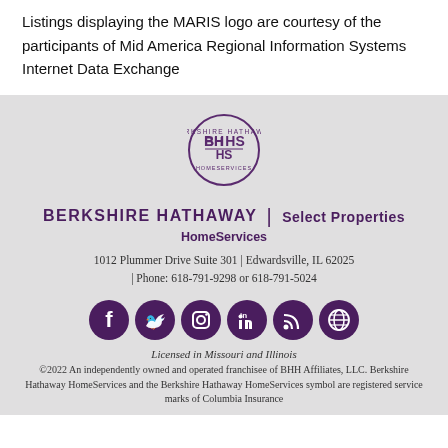Listings displaying the MARIS logo are courtesy of the participants of Mid America Regional Information Systems Internet Data Exchange
[Figure (logo): Berkshire Hathaway HomeServices circular logo with BH HS initials]
BERKSHIRE HATHAWAY | Select Properties HomeServices
1012 Plummer Drive Suite 301 | Edwardsville, IL 62025 | Phone: 618-791-9298 or 618-791-5024
[Figure (other): Social media icons: Facebook, Twitter, Instagram, LinkedIn, RSS, Globe/Website]
Licensed in Missouri and Illinois
©2022 An independently owned and operated franchisee of BHH Affiliates, LLC. Berkshire Hathaway HomeServices and the Berkshire Hathaway HomeServices symbol are registered service marks of Columbia Insurance